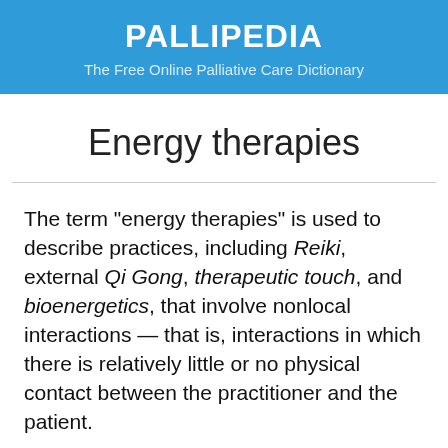PALLIPEDIA
The Free Online Palliative Care Dictionary
Energy therapies
The term "energy therapies" is used to describe practices, including Reiki, external Qi Gong, therapeutic touch, and bioenergetics, that involve nonlocal interactions — that is, interactions in which there is relatively little or no physical contact between the practitioner and the patient.